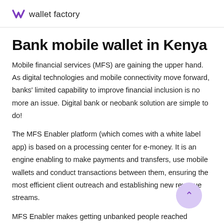wallet factory
Bank mobile wallet in Kenya
Mobile financial services (MFS) are gaining the upper hand. As digital technologies and mobile connectivity move forward, banks' limited capability to improve financial inclusion is no more an issue. Digital bank or neobank solution are simple to do!
The MFS Enabler platform (which comes with a white label app) is based on a processing center for e-money. It is an engine enabling to make payments and transfers, use mobile wallets and conduct transactions between them, ensuring the most efficient client outreach and establishing new revenue streams.
MFS Enabler makes getting unbanked people reached